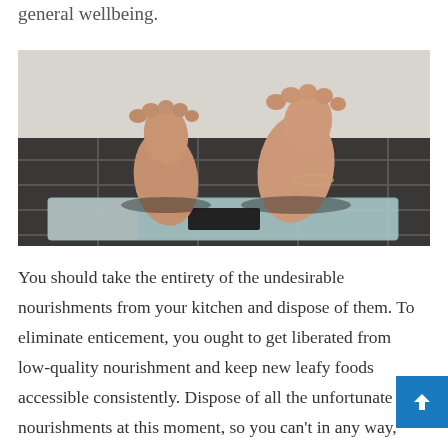general wellbeing.
[Figure (photo): Close-up photo of bare feet standing on a glass bathroom scale on dark tiled floor]
You should take the entirety of the undesirable nourishments from your kitchen and dispose of them. To eliminate enticement, you ought to get liberated from low-quality nourishment and keep new leafy foods accessible consistently. Dispose of all the unfortunate nourishments at this moment, so you can't in any way, shape, or